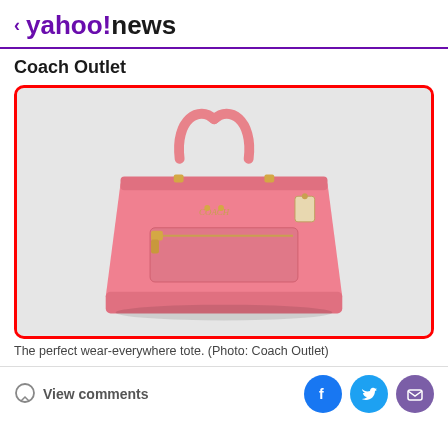< yahoo!news
Coach Outlet
[Figure (photo): Pink Coach Outlet tote bag with gold hardware and zipper pocket, displayed on a light grey background, surrounded by a red border]
The perfect wear-everywhere tote. (Photo: Coach Outlet)
View comments